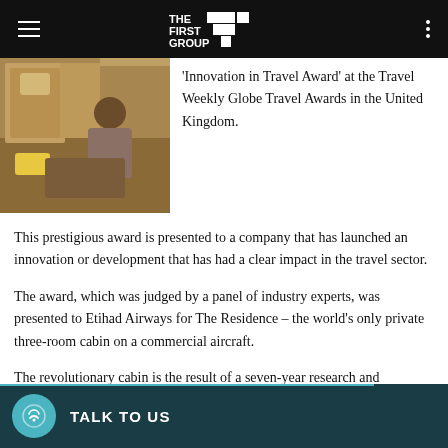THE FIRST GROUP
[Figure (photo): A man in a suit sitting in a luxurious aircraft cabin (The Residence by Etihad Airways)]
'Innovation in Travel Award' at the Travel Weekly Globe Travel Awards in the United Kingdom.
This prestigious award is presented to a company that has launched an innovation or development that has had a clear impact in the travel sector.
The award, which was judged by a panel of industry experts, was presented to Etihad Airways for The Residence – the world's only private three-room cabin on a commercial aircraft.
The revolutionary cabin is the result of a seven-year research and development programme conducted at the airline's Innovation Centre in Abu Dhabi, led by the Etihad Design Consortium.
TALK TO US